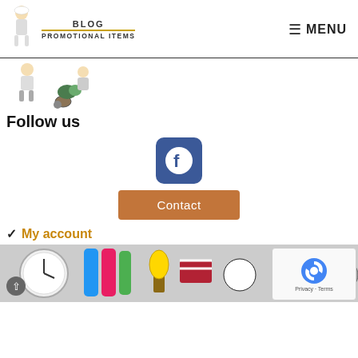[Figure (logo): Blog Promotional Items website logo with illustrated character and text 'BLOG PROMOTIONAL ITEMS']
[Figure (other): MENU navigation button with hamburger icon]
[Figure (illustration): Illustrated characters (gardeners or workers) with wheelbarrow and plants]
Follow us
[Figure (logo): Facebook social media icon button - blue rounded square with white F logo]
[Figure (other): Contact button - orange/brown rounded rectangle]
Contact
✔ My account
[Figure (photo): Bottom strip collage of promotional items: clocks, water bottles, trophies, sports balls, flashlights etc.]
[Figure (other): Google reCAPTCHA badge with Privacy and Terms links]